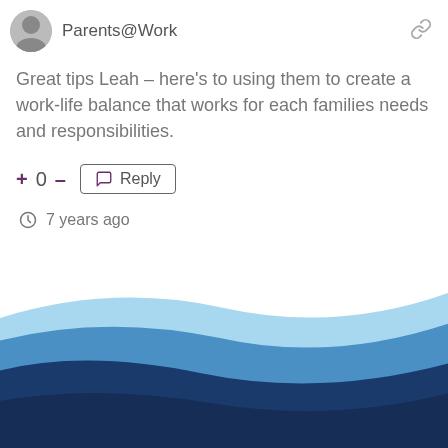Parents@Work
Great tips Leah – here's to using them to create a work-life balance that works for each families needs and responsibilities.
+ 0 –  Reply
7 years ago
[Figure (illustration): Decorative wave footer with layered blue bands (light blue, medium blue, dark navy) diagonally across the bottom of the page.]